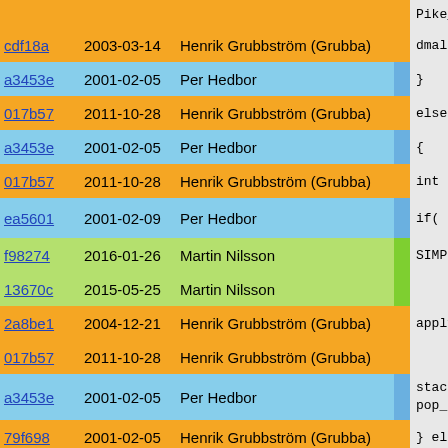| hash | date | author | bar | code |
| --- | --- | --- | --- | --- |
| cdf18a | 2003-03-14 | Henrik Grubbström (Grubba) |  | dmalloc_ |
| a3453e | 2001-02-05 | Per Hedbor |  | } |
| 017b57 | 2011-10-28 | Henrik Grubbström (Grubba) |  | else if ( |
| a3453e | 2001-02-05 | Per Hedbor |  | { |
| 017b57 | 2011-10-28 | Henrik Grubbström (Grubba) |  | int id = |
| ea5601 | 2001-02-09 | Per Hedbor |  | if( id = |
| f98274 | 2016-01-26 | Martin Nilsson |  | SIMPLE_ |
| 13670c | 2015-05-25 | Martin Nilsson |  |  |
| 2a8be1 | 2004-12-21 | Henrik Grubbström (Grubba) |  | apply_lo |
| 017b57 | 2011-10-28 | Henrik Grubbström (Grubba) |  |  |
| a3453e | 2001-02-05 | Per Hedbor |  | stack_sw pop_stac |
| 79f698 | 2001-02-05 | Henrik Grubbström (Grubba) |  | } else { |
| f98274 | 2016-01-26 | Martin Nilsson |  | SIMPLE_A |
| a3453e | 2001-02-05 | Per Hedbor |  | } |
| 7f80d4 | 2000-06-19 | Fredrik Hübinette (Hubbe) |  | } |